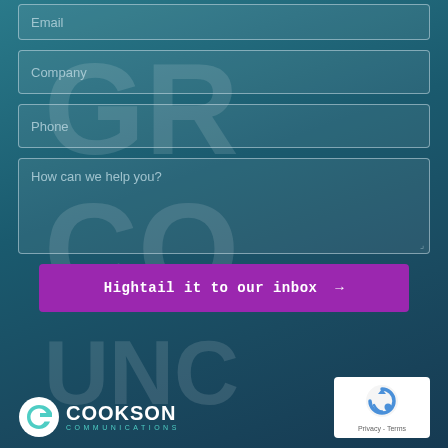Email
Company
Phone
How can we help you?
Hightail it to our inbox →
[Figure (logo): Cookson Communications logo with circular S icon in teal and white text]
[Figure (other): reCAPTCHA badge with Privacy and Terms links]